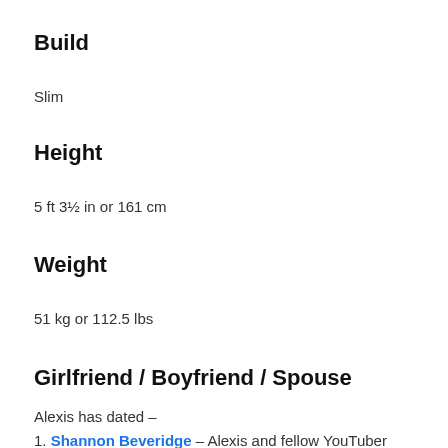Build
Slim
Height
5 ft 3½ in or 161 cm
Weight
51 kg or 112.5 lbs
Girlfriend / Boyfriend / Spouse
Alexis has dated –
Shannon Beveridge – Alexis and fellow YouTuber